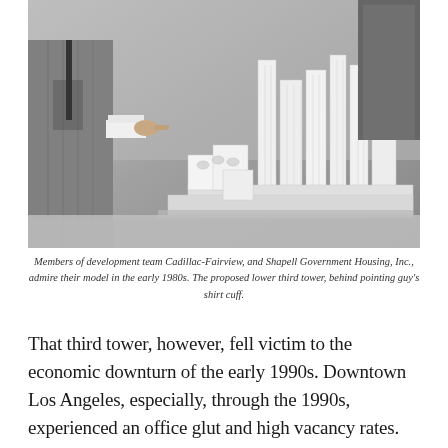[Figure (photo): Black and white photograph of men in suits leaning over an architectural scale model of tall buildings, pointing at the model. Early 1980s setting.]
Members of development team Cadillac-Fairview, and Shapell Government Housing, Inc., admire their model in the early 1980s. The proposed lower third tower, behind pointing guy's shirt cuff.
That third tower, however, fell victim to the economic downturn of the early 1990s. Downtown Los Angeles, especially, through the 1990s, experienced an office glut and high vacancy rates. Despite eventual recovery from the 90s recession, the property went undeveloped and